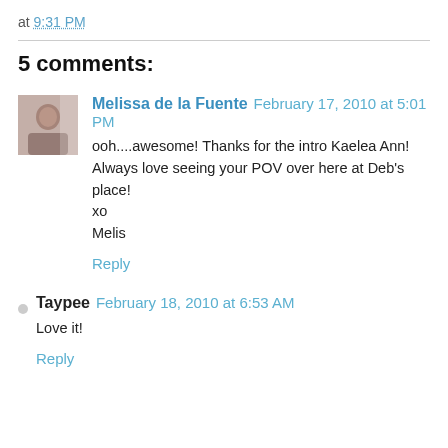at 9:31 PM
5 comments:
Melissa de la Fuente February 17, 2010 at 5:01 PM
ooh....awesome! Thanks for the intro Kaelea Ann! Always love seeing your POV over here at Deb's place!
xo
Melis
Reply
Taypee February 18, 2010 at 6:53 AM
Love it!
Reply